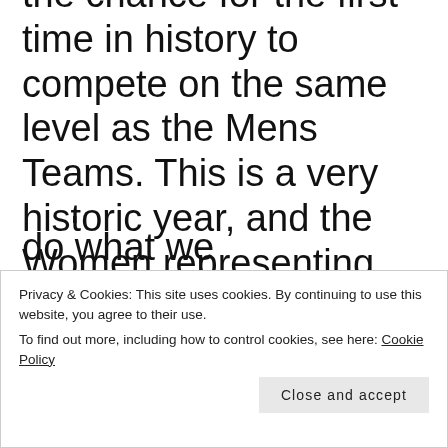the chance for the first time in history to compete on the same level as the Mens Teams. This is a very historic year, and the Women representing Team USA are in need of our National support for making this happen. We have
Privacy & Cookies: This site uses cookies. By continuing to use this website, you agree to their use. To find out more, including how to control cookies, see here: Cookie Policy
Represent! So Let's All do what we